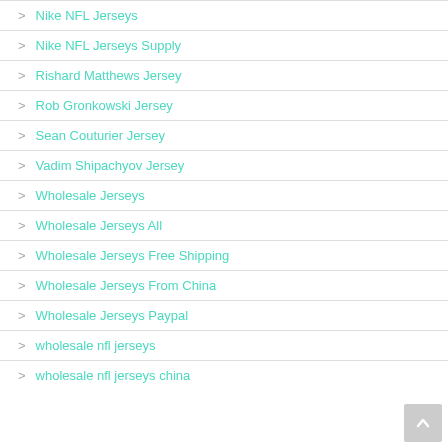> Nike NFL Jerseys
> Nike NFL Jerseys Supply
> Rishard Matthews Jersey
> Rob Gronkowski Jersey
> Sean Couturier Jersey
> Vadim Shipachyov Jersey
> Wholesale Jerseys
> Wholesale Jerseys All
> Wholesale Jerseys Free Shipping
> Wholesale Jerseys From China
> Wholesale Jerseys Paypal
> wholesale nfl jerseys
> wholesale nfl jerseys china